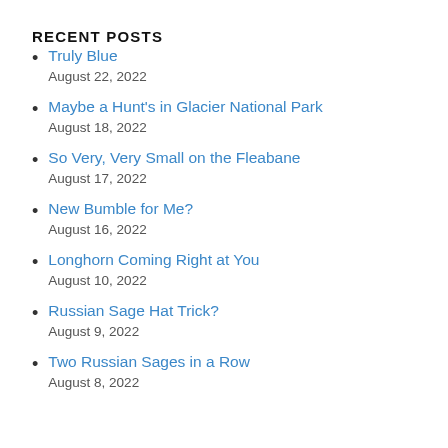RECENT POSTS
Truly Blue
August 22, 2022
Maybe a Hunt's in Glacier National Park
August 18, 2022
So Very, Very Small on the Fleabane
August 17, 2022
New Bumble for Me?
August 16, 2022
Longhorn Coming Right at You
August 10, 2022
Russian Sage Hat Trick?
August 9, 2022
Two Russian Sages in a Row
August 8, 2022